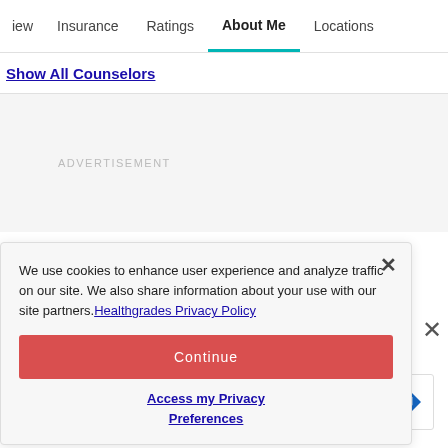iew  Insurance  Ratings  About Me  Locations
Show All Counselors
ADVERTISEMENT
We use cookies to enhance user experience and analyze traffic on our site. We also share information about your use with our site partners. Healthgrades Privacy Policy
Continue
Access my Privacy Preferences